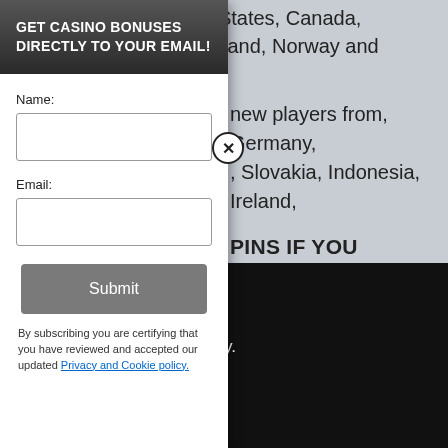This promotion is reserved for players from following countries only: United States, Canada, Finland, Italy, New Zealand, Norway and Sweden.
new players from, Germany, , Slovakia, Indonesia, Ireland,
PINS IF YOU DEPOSIT WITH
perience, we use Using this site, kie & privacy policy.
GET CASINO BONUSES DIRECTLY TO YOUR EMAIL!
Name:
Email:
Submit
By subscribing you are certifying that you have reviewed and accepted our updated Privacy and Cookie policy.